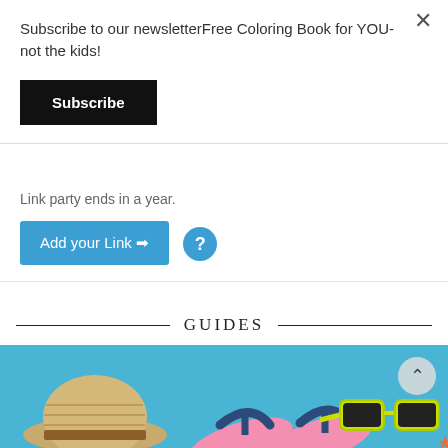Subscribe to our newsletterFree Coloring Book for YOU- not the kids!
Subscribe
Link party ends in a year.
Add your Link →
GUIDES
[Figure (photo): Summer items on blue background: straw hat, pink flip flops, yellow-framed sunglasses, and starfish]